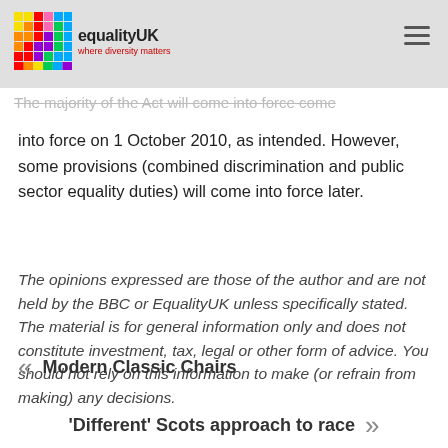equalityUK — where diversity matters
The majority of the Act will come into force come into force on 1 October 2010, as intended. However, some provisions (combined discrimination and public sector equality duties) will come into force later.
The opinions expressed are those of the author and are not held by the BBC or EqualityUK unless specifically stated. The material is for general information only and does not constitute investment, tax, legal or other form of advice. You should not rely on this information to make (or refrain from making) any decisions.
« Modern Classic Chairs
'Different' Scots approach to race »